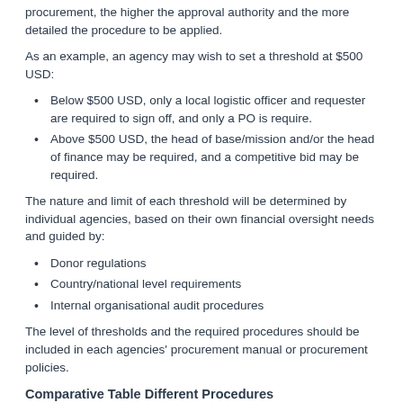procurement, the higher the approval authority and the more detailed the procedure to be applied.
As an example, an agency may wish to set a threshold at $500 USD:
Below $500 USD, only a local logistic officer and requester are required to sign off, and only a PO is require.
Above $500 USD, the head of base/mission and/or the head of finance may be required, and a competitive bid may be required.
The nature and limit of each threshold will be determined by individual agencies, based on their own financial oversight needs and guided by:
Donor regulations
Country/national level requirements
Internal organisational audit procedures
The level of thresholds and the required procedures should be included in each agencies' procurement manual or procurement policies.
Comparative Table Different Procedures
Following the competitive criteria in identifying a higher using the